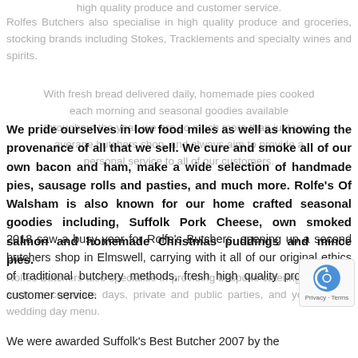high quality produce and customer service.
Rolfes Butchers also specialise in high quality produce and groceries, stocking brands including Stokes, Tracklements and specialty wines and spirits.
With fresh bread delivered daily, homemade pies cooked each morning and seasonal goodies available throughout the year, we are so much more than just your average butchers shop, and always aim to provide a personal service to all of our customers.
We pride ourselves in low food miles as well as knowing the provenance of all that we sell. We cure and smoke all of our own bacon and ham, make a wide selection of handmade pies, sausage rolls and pasties, and much more. Rolfe's Of Walsham is also known for our home crafted seasonal goodies including, Suffolk Pork Cheese, own smoked salmon and homemade Christmas puddings and mince pies.
Rolfes Butchers also specialise in providing bespoke catering for events such as corporate days, private and public parties, and your special wedding day menu.
2018 saw a busy year for Rolfe's Butchers, opening up a second butchers shop in Elmswell, carrying with it all of our original ethics of traditional butchery methods, fresh high quality produce and customer service.
We were awarded Suffolk's Best Butcher 2007 by the